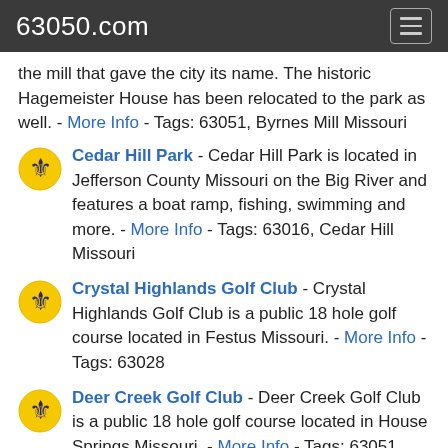63050.com
the mill that gave the city its name. The historic Hagemeister House has been relocated to the park as well. - More Info - Tags: 63051, Byrnes Mill Missouri
Cedar Hill Park - Cedar Hill Park is located in Jefferson County Missouri on the Big River and features a boat ramp, fishing, swimming and more. - More Info - Tags: 63016, Cedar Hill Missouri
Crystal Highlands Golf Club - Crystal Highlands Golf Club is a public 18 hole golf course located in Festus Missouri. - More Info - Tags: 63028
Deer Creek Golf Club - Deer Creek Golf Club is a public 18 hole golf course located in House Springs Missouri. - More Info - Tags: 63051